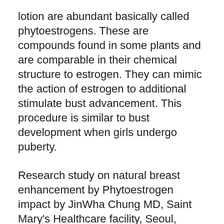lotion are abundant basically called phytoestrogens. These are compounds found in some plants and are comparable in their chemical structure to estrogen. They can mimic the action of estrogen to additional stimulate bust advancement. This procedure is similar to bust development when girls undergo puberty.
Research study on natural breast enhancement by Phytoestrogen impact by JinWha Chung MD, Saint Mary's Healthcare facility, Seoul, Korea wrapped up that.
" According to this experience, the variety of phytoestrogens is related to all-natural breast augmentation in ladies, and its system is possibly… the boost in the variety